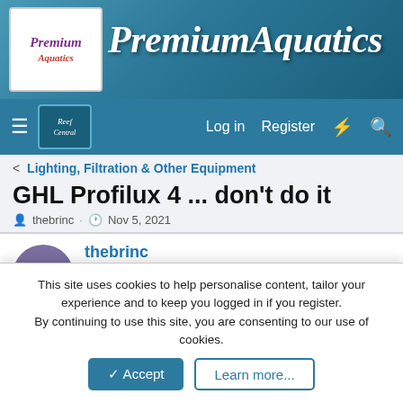[Figure (screenshot): PremiumAquatics website banner with logo and script text title on blue aquatic background]
[Figure (screenshot): Navigation bar with hamburger menu, Reef Central logo, Log in, Register, notification and search icons]
< Lighting, Filtration & Other Equipment
GHL Profilux 4 ... don't do it
thebrinc · Nov 5, 2021
thebrinc
New member
Nov 5, 2021    #1
I decided to make the switch from Apex in 2019 when my 800G
This site uses cookies to help personalise content, tailor your experience and to keep you logged in if you register.
By continuing to use this site, you are consenting to our use of cookies.